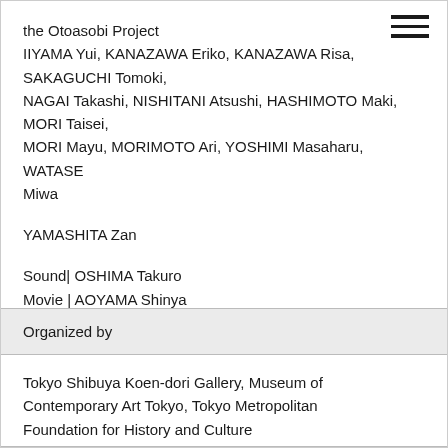the Otoasobi Project
IIYAMA Yui, KANAZAWA Eriko, KANAZAWA Risa, SAKAGUCHI Tomoki,
NAGAI Takashi, NISHITANI Atsushi, HASHIMOTO Maki, MORI Taisei,
MORI Mayu, MORIMOTO Ari, YOSHIMI Masaharu, WATASE Miwa
YAMASHITA Zan
Sound| OSHIMA Takuro
Movie | AOYAMA Shinya
Organized by
Tokyo Shibuya Koen-dori Gallery, Museum of Contemporary Art Tokyo, Tokyo Metropolitan Foundation for History and Culture